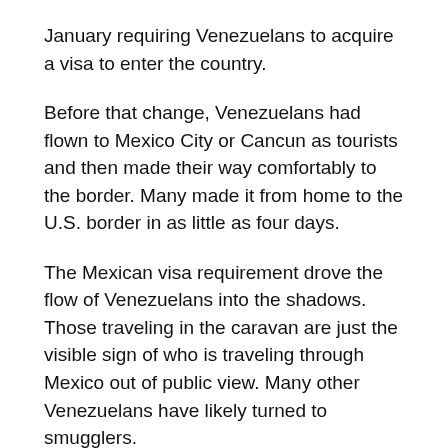January requiring Venezuelans to acquire a visa to enter the country.
Before that change, Venezuelans had flown to Mexico City or Cancun as tourists and then made their way comfortably to the border. Many made it from home to the U.S. border in as little as four days.
The Mexican visa requirement drove the flow of Venezuelans into the shadows. Those traveling in the caravan are just the visible sign of who is traveling through Mexico out of public view. Many other Venezuelans have likely turned to smugglers.
Encounters with Venezuelans at the southwest border plunged from 22,779 in January to 3,073 in February, according to U.S. Customs and Border Protection. In April,